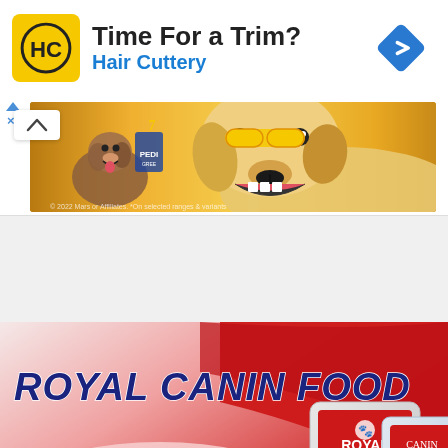[Figure (photo): Hair Cuttery advertisement with logo, text 'Time For a Trim?' and 'Hair Cuttery', and blue diamond navigation arrow icon]
[Figure (photo): Pedigree dog food promotional banner showing two dogs on yellow/orange background with Pedigree product]
[Figure (photo): Royal Canin Food advertisement with red/pink gradient background, text 'ROYAL CANIN FOOD', 'Upto 20% Off', 'SHOP NOW' button, and Royal Canin product bags]